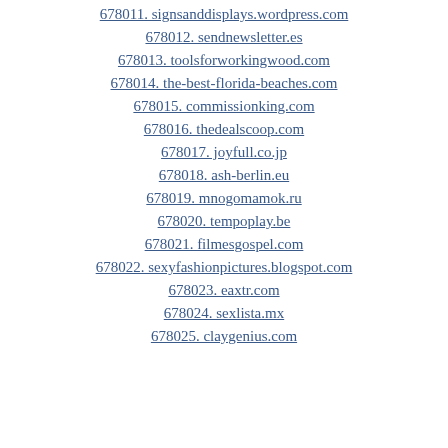678011. signsanddisplays.wordpress.com
678012. sendnewsletter.es
678013. toolsforworkingwood.com
678014. the-best-florida-beaches.com
678015. commissionking.com
678016. thedealscoop.com
678017. joyfull.co.jp
678018. ash-berlin.eu
678019. mnogomamok.ru
678020. tempoplay.be
678021. filmesgospel.com
678022. sexyfashionpictures.blogspot.com
678023. eaxtr.com
678024. sexlista.mx
678025. claygenius.com